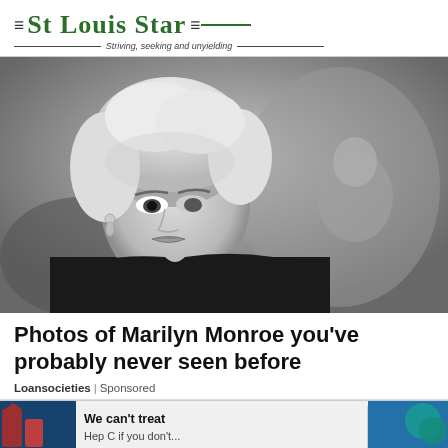St Louis Star — Striving, seeking and unyielding
[Figure (photo): Black and white photograph of Marilyn Monroe in close-up, with curly blonde hair and dark clothing, another person visible in the background]
Photos of Marilyn Monroe you've probably never seen before
Loansocieties | Sponsored
[Figure (other): Partial advertisement banner at the bottom of the page showing 'We can't treat' text with colorful imagery]